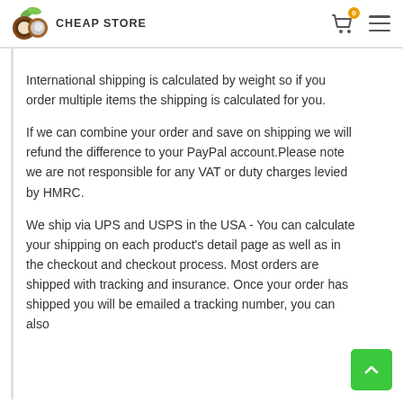CHEAP STORE
International shipping is calculated by weight so if you order multiple items the shipping is calculated for you.
If we can combine your order and save on shipping we will refund the difference to your PayPal account.Please note we are not responsible for any VAT or duty charges levied by HMRC.
We ship via UPS and USPS in the USA - You can calculate your shipping on each product's detail page as well as in the checkout and checkout process. Most orders are shipped with tracking and insurance. Once your order has shipped you will be emailed a tracking number, you can also